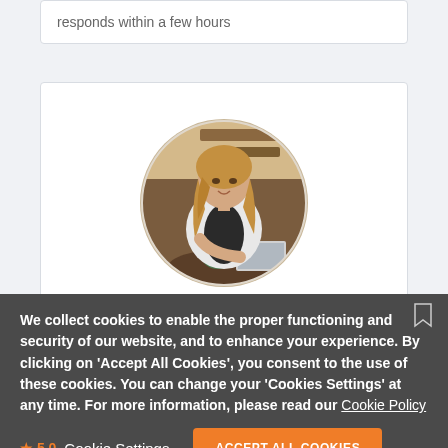responds within a few hours
[Figure (photo): Circular profile photo of a woman sitting at a table with a laptop and a green teapot, wearing a white cardigan, in a warm cafe setting]
Joanna K
We collect cookies to enable the proper functioning and security of our website, and to enhance your experience. By clicking on 'Accept All Cookies', you consent to the use of these cookies. You can change your 'Cookies Settings' at any time. For more information, please read our Cookie Policy
Cookie Settings
ACCEPT ALL COOKIES
★ 5.0